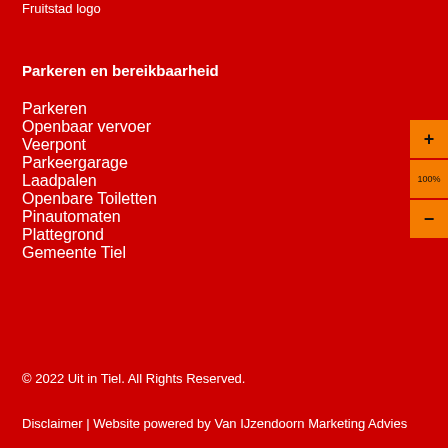Fruitstad logo
Parkeren en bereikbaarheid
Parkeren
Openbaar vervoer
Veerpont
Parkeergarage
Laadpalen
Openbare Toiletten
Pinautomaten
Plattegrond
Gemeente Tiel
© 2022 Uit in Tiel. All Rights Reserved.
Disclaimer | Website powered by Van IJzendoorn Marketing Advies